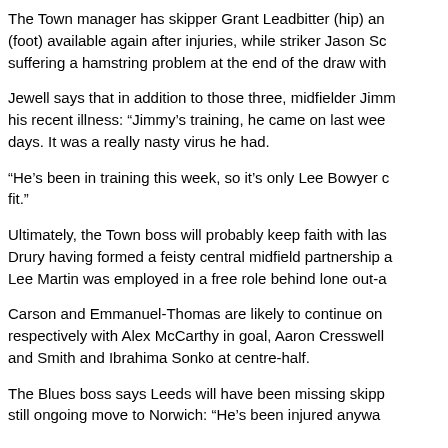The Town manager has skipper Grant Leadbitter (hip) and (foot) available again after injuries, while striker Jason Sc suffering a hamstring problem at the end of the draw with
Jewell says that in addition to those three, midfielder Jimm his recent illness: "Jimmy's training, he came on last wee days. It was a really nasty virus he had.
“He’s been in training this week, so it’s only Lee Bowyer c fit.”
Ultimately, the Town boss will probably keep faith with las Drury having formed a feisty central midfield partnership a Lee Martin was employed in a free role behind lone out-a
Carson and Emmanuel-Thomas are likely to continue on respectively with Alex McCarthy in goal, Aaron Cresswell and Smith and Ibrahima Sonko at centre-half.
The Blues boss says Leeds will have been missing skipp still ongoing move to Norwich: “He’s been injured anywa